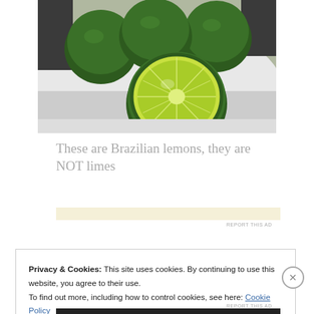[Figure (photo): Photo of green Brazilian lemons/limes on a white plate, one cut in half showing the interior]
These are Brazilian lemons, they are NOT limes
REPORT THIS AD
Privacy & Cookies: This site uses cookies. By continuing to use this website, you agree to their use.
To find out more, including how to control cookies, see here: Cookie Policy
Close and accept